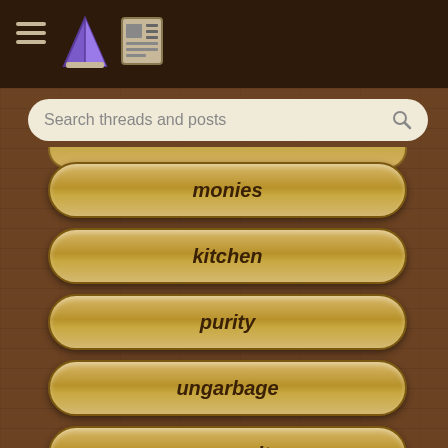[Figure (screenshot): Dark brown navigation header bar with hamburger menu icon, pie/book icon, and list/newspaper icon on the left side]
Search threads and posts
monies
kitchen
purity
ungarbage
community
wilderness
fiber arts
Register /
Login
Any C
15 replies
Upstate NY
58 replies  [➜◻ 1, 2]
Humanity vs. Chemistr
10 replies
Borderline hardiness z
4 replies
Creating a hedgerow o shrubs or small trees.
36 replies